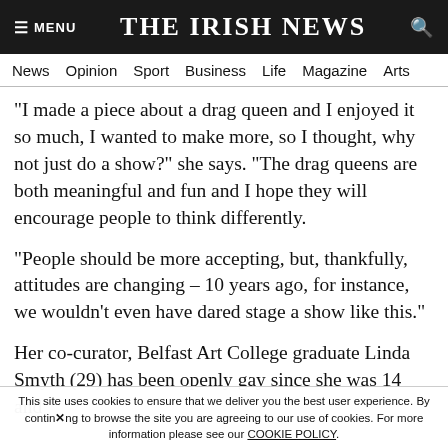THE IRISH NEWS
News  Opinion  Sport  Business  Life  Magazine  Arts
"I made a piece about a drag queen and I enjoyed it so much, I wanted to make more, so I thought, why not just do a show?" she says. "The drag queens are both meaningful and fun and I hope they will encourage people to think differently.
"People should be more accepting, but, thankfully, attitudes are changing – 10 years ago, for instance, we wouldn't even have dared stage a show like this."
Her co-curator, Belfast Art College graduate Linda Smyth (29) has been openly gay since she was 14 and
This site uses cookies to ensure that we deliver you the best user experience. By continuing to browse the site you are agreeing to our use of cookies. For more information please see our COOKIE POLICY.